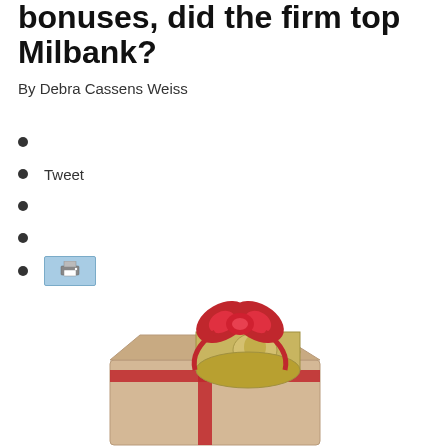bonuses, did the firm top Milbank?
By Debra Cassens Weiss
Tweet
[print button]
[Figure (photo): A gift box with a red bow containing a rolled-up bundle of US $100 dollar bills, photographed on a white background.]